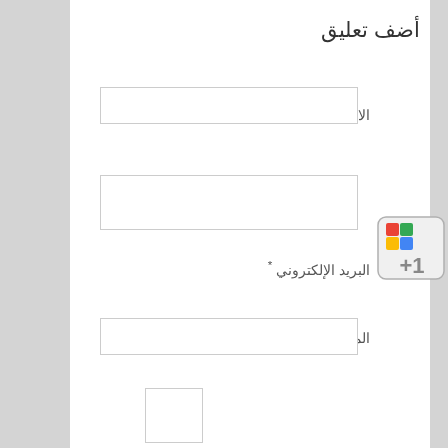أضف تعليق
الاسم *
[Figure (other): Text input field for name]
[Figure (other): Second text input field (unlabeled, possibly for additional info)]
البريد الإلكتروني *
الموقع
[Figure (other): Text input field for website URL]
[Figure (other): Small checkbox or captcha input field]
* Anti-Spam
[Figure (other): Large textarea for comment text]
[Figure (screenshot): Google +1 button icon with colorful house logo and +1 label]